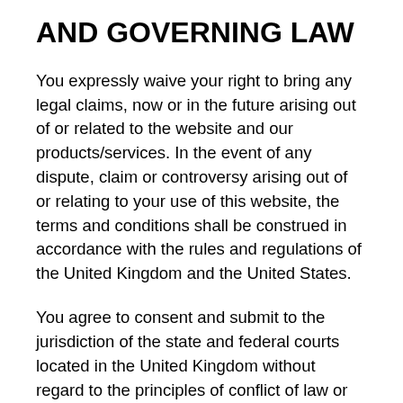AND GOVERNING LAW
You expressly waive your right to bring any legal claims, now or in the future arising out of or related to the website and our products/services. In the event of any dispute, claim or controversy arising out of or relating to your use of this website, the terms and conditions shall be construed in accordance with the rules and regulations of the United Kingdom and the United States.
You agree to consent and submit to the jurisdiction of the state and federal courts located in the United Kingdom without regard to the principles of conflict of law or where the parties are located at the time a dispute arises.